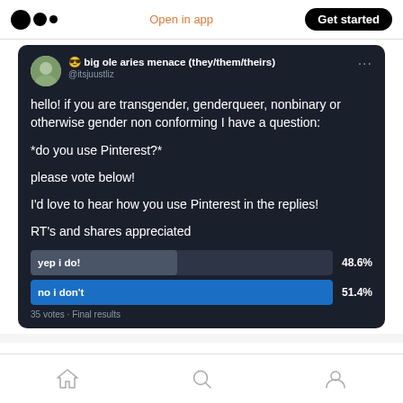Medium logo | Open in app | Get started
[Figure (screenshot): Tweet from @itsjuustliz (big ole aries menace they/them/theirs) with poll about Pinterest usage among transgender/nonbinary people. Tweet text: 'hello! if you are transgender, genderqueer, nonbinary or otherwise gender non conforming I have a question: *do you use Pinterest?* please vote below! I'd love to hear how you use Pinterest in the replies! RT's and shares appreciated'. Poll results: 'yep i do!' 48.6%, 'no i don't' 51.4%, 35 votes · Final results.]
Home | Search | Profile navigation icons